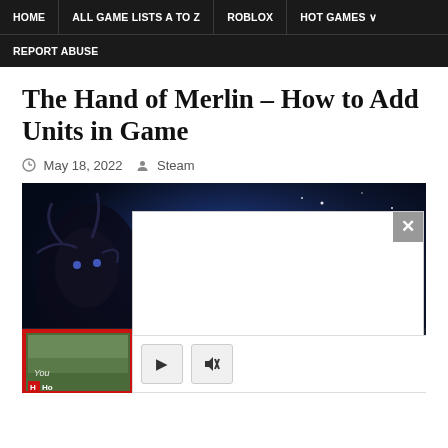HOME | ALL GAME LISTS A TO Z | ROBLOX | HOT GAMES | REPORT ABUSE
The Hand of Merlin – How to Add Units in Game
May 18, 2022  Steam
[Figure (screenshot): Screenshot of The Hand of Merlin game with a white popup overlay and video player controls at the bottom]